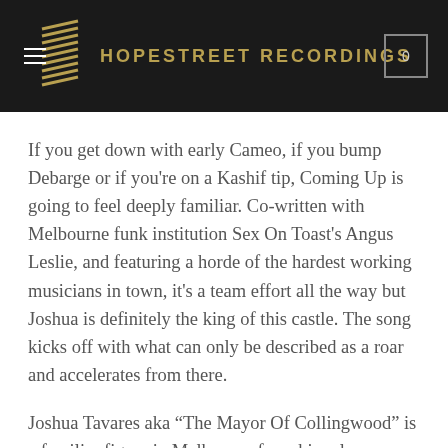HOPESTREET RECORDINGS
If you get down with early Cameo, if you bump Debarge or if you're on a Kashif tip, Coming Up is going to feel deeply familiar. Co-written with Melbourne funk institution Sex On Toast's Angus Leslie, and featuring a horde of the hardest working musicians in town, it's a team effort all the way but Joshua is definitely the king of this castle. The song kicks off with what can only be described as a roar and accelerates from there.
Joshua Tavares aka “The Mayor Of Collingwood” is a familiar figure in Melbourne from his roles as an organiser of community events and singer on countless gigs and records. Funk and Boogie is